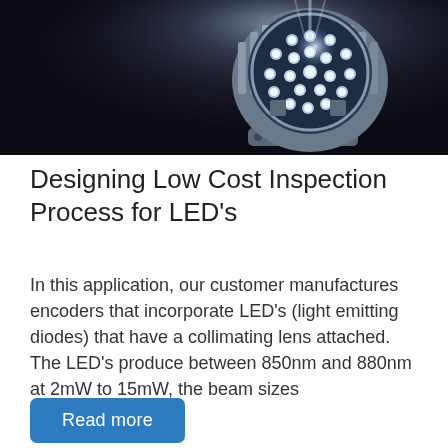[Figure (photo): An LED spotlight fixture with multiple LED emitters and heat sink fins, mounted on a bracket, photographed against a dark background with dramatic lighting.]
Designing Low Cost Inspection Process for LED's
In this application, our customer manufactures encoders that incorporate LED's (light emitting diodes) that have a collimating lens attached. The LED's produce between 850nm and 880nm at 2mW to 15mW, the beam sizes
Read more